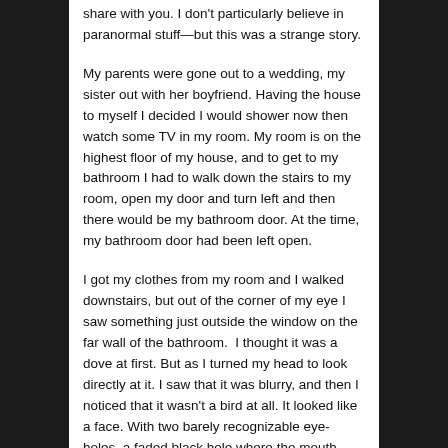share with you. I don't particularly believe in paranormal stuff—but this was a strange story.
My parents were gone out to a wedding, my sister out with her boyfriend. Having the house to myself I decided I would shower now then watch some TV in my room. My room is on the highest floor of my house, and to get to my bathroom I had to walk down the stairs to my room, open my door and turn left and then there would be my bathroom door. At the time, my bathroom door had been left open.
I got my clothes from my room and I walked downstairs, but out of the corner of my eye I saw something just outside the window on the far wall of the bathroom.  I thought it was a dove at first. But as I turned my head to look directly at it. I saw that it was blurry, and then I noticed that it wasn't a bird at all. It looked like a face. With two barely recognizable eye-holes, a faded black hole where the mouth would be, and what looked to be a depression for a nose. As I